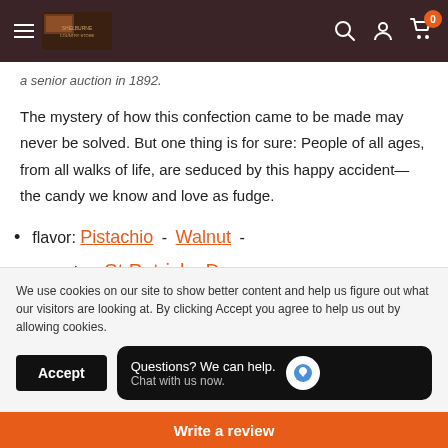Shelburne Country Store — navigation header
a senior auction in 1892.
The mystery of how this confection came to be made may never be solved. But one thing is for sure: People of all ages, from all walks of life, are seduced by this happy accident—the candy we know and love as fudge.
flavor: Pistachio - Walnut -
occasion: St Patricks Day -
We use cookies on our site to show better content and help us figure out what our visitors are looking at. By clicking Accept you agree to help us out by allowing cookies.
Accept | Questions? We can help. Chat with us now.
Write a review